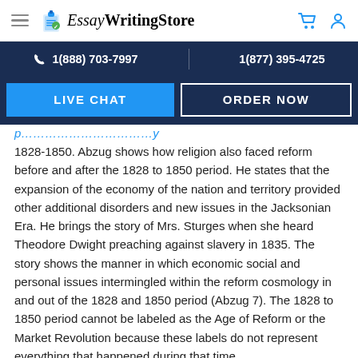EssayWritingStore
1(888) 703-7997   1(877) 395-4725
LIVE CHAT   ORDER NOW
1828-1850. Abzug shows how religion also faced reform before and after the 1828 to 1850 period. He states that the expansion of the economy of the nation and territory provided other additional disorders and new issues in the Jacksonian Era. He brings the story of Mrs. Sturges when she heard Theodore Dwight preaching against slavery in 1835. The story shows the manner in which economic social and personal issues intermingled within the reform cosmology in and out of the 1828 and 1850 period (Abzug 7). The 1828 to 1850 period cannot be labeled as the Age of Reform or the Market Revolution because these labels do not represent everything that happened during that time.